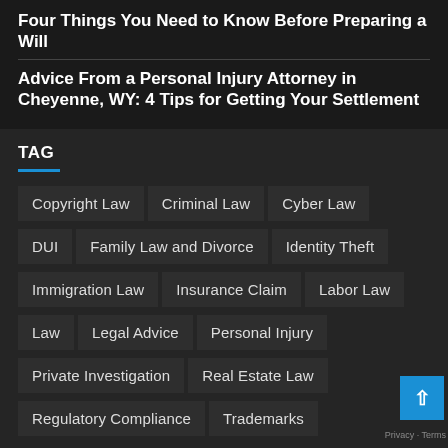Four Things You Need to Know Before Preparing a Will
Advice From a Personal Injury Attorney in Cheyenne, WY: 4 Tips for Getting Your Settlement
TAG
Copyright Law
Criminal Law
Cyber Law
DUI
Family Law and Divorce
Identity Theft
Immigration Law
Insurance Claim
Labor Law
Law
Legal Advice
Personal Injury
Private Investigation
Real Estate Law
Regulatory Compliance
Trademarks